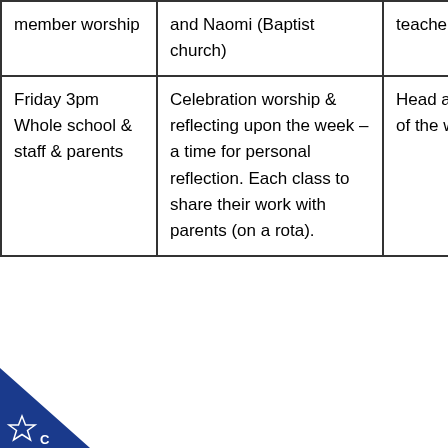| member worship | and Naomi (Baptist church) | teachers |
| Friday 3pm Whole school & staff & parents | Celebration worship & reflecting upon the week – a time for personal reflection. Each class to share their work with parents (on a rota). | Head and class of the week. |